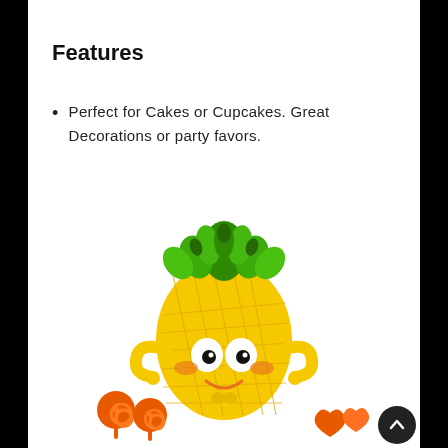Features
Perfect for Cakes or Cupcakes. Great Decorations or party favors.
[Figure (photo): A cute cartoon pineapple character toy with green leaf top, big white eyes with black pupils, orange rosy cheeks, a smiling orange mouth, and small yellow arms. In front of it are two orange spiral lollipop shapes and two small orange heart/mushroom shapes. The figure is bright yellow.]